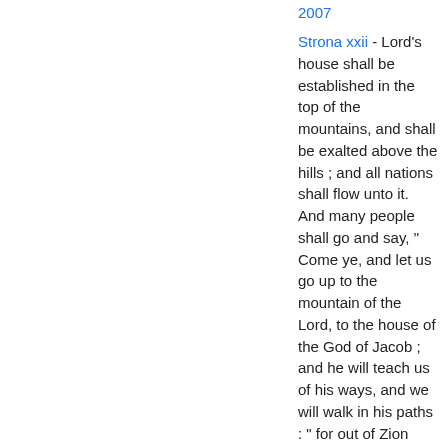2007
Strona xxii - Lord's house shall be established in the top of the mountains, and shall be exalted above the hills ; and all nations shall flow unto it. And many people shall go and say, " Come ye, and let us go up to the mountain of the Lord, to the house of the God of Jacob ; and he will teach us of his ways, and we will walk in his paths : " for out of Zion shall go forth the law, and the word of the Lord from Jerusalem.
Występuje w 578 książkach z lat 1694-